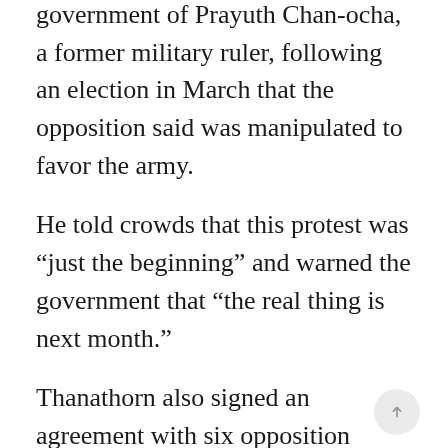government of Prayuth Chan-ocha, a former military ruler, following an election in March that the opposition said was manipulated to favor the army.
He told crowds that this protest was “just the beginning” and warned the government that “the real thing is next month.”
Thanathorn also signed an agreement with six opposition parties over the weekend promising